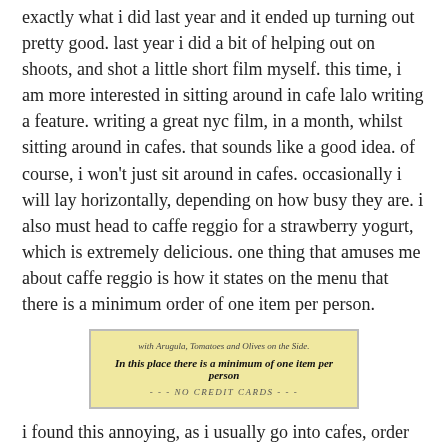exactly what i did last year and it ended up turning out pretty good. last year i did a bit of helping out on shoots, and shot a little short film myself. this time, i am more interested in sitting around in cafe lalo writing a feature. writing a great nyc film, in a month, whilst sitting around in cafes. that sounds like a good idea. of course, i won't just sit around in cafes. occasionally i will lay horizontally, depending on how busy they are. i also must head to caffe reggio for a strawberry yogurt, which is extremely delicious. one thing that amuses me about caffe reggio is how it states on the menu that there is a minimum order of one item per person.
[Figure (photo): A menu card with yellowish background showing text: 'with Arugula, Tomatoes and Olives on the Side.' in italic, then bold italic 'In this place there is a minimum of one item per person', then '- - - NO CREDIT CARDS - - -' in italic.]
i found this annoying, as i usually go into cafes, order absolutely nothing, and then leave a 20% tip.
i am definitely going to visit the museum of moving image in queens again. i spent a day there walking around by myself last time. although, maybe i was with someone as i'm pretty sure i was having long conversations whilst there? maybe i